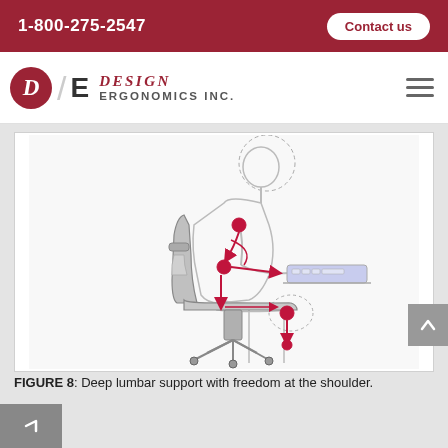1-800-275-2547
[Figure (logo): Design Ergonomics Inc. logo with red circle containing D, slash, bold E, and company name in red italic and gray text]
[Figure (illustration): Ergonomic diagram (Figure 8) showing a person seated in an office chair at a keyboard, with red arrows and dots indicating deep lumbar support and freedom at the shoulder. Key joints and posture points are highlighted with red circles and arrows.]
FIGURE 8: Deep lumbar support with freedom at the shoulder.